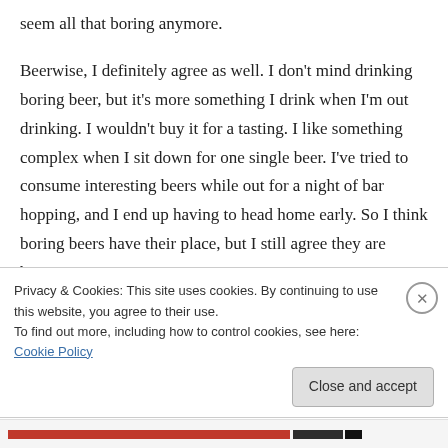seem all that boring anymore.

Beerwise, I definitely agree as well. I don't mind drinking boring beer, but it's more something I drink when I'm out drinking. I wouldn't buy it for a tasting. I like something complex when I sit down for one single beer. I've tried to consume interesting beers while out for a night of bar hopping, and I end up having to head home early. So I think boring beers have their place, but I still agree they are boring.
Privacy & Cookies: This site uses cookies. By continuing to use this website, you agree to their use.
To find out more, including how to control cookies, see here: Cookie Policy
Close and accept